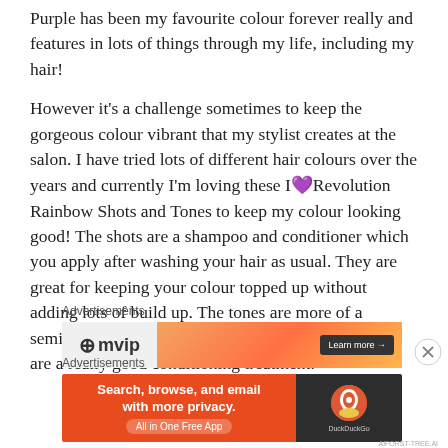Purple has been my favourite colour forever really and features in lots of things through my life, including my hair!
However it’s a challenge sometimes to keep the gorgeous colour vibrant that my stylist creates at the salon. I have tried lots of different hair colours over the years and currently I’m loving these I❤Revolution Rainbow Shots and Tones to keep my colour looking good! The shots are a shampoo and conditioner which you apply after washing your hair as usual. They are great for keeping your colour topped up without adding lots of build up. The tones are more of a semipermanent colour with much more pigment and are a really good conditioning treatment.
Advertisements
[Figure (screenshot): Advertisement banner with mvip logo on left and orange gradient background with Learn more button on right]
[Figure (screenshot): Close/dismiss button (circled X) for advertisement]
Advertisements
[Figure (screenshot): DuckDuckGo advertisement banner: orange background with text 'Search, browse, and email with more privacy. All in One Free App' and DuckDuckGo logo on dark background on right]